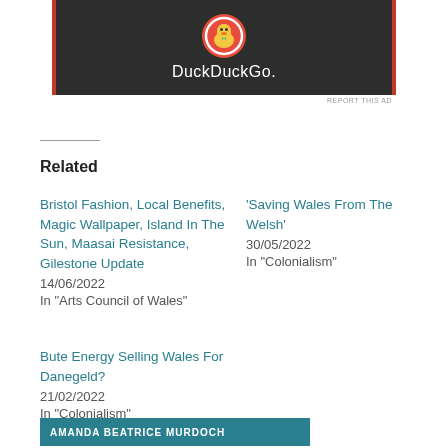[Figure (screenshot): DuckDuckGo advertisement banner with dark background, orange side borders, duck logo and brand name 'DuckDuckGo.']
REPORT THIS AD
Related
Bristol Fashion, Local Benefits, Magic Wallpaper, Island In The Sun, Maasai Resistance, Gilestone Update
14/06/2022
In "Arts Council of Wales"
'Saving Wales From The Welsh'
30/05/2022
In "Colonialism"
Bute Energy Selling Wales For Danegeld?
21/02/2022
In "Colonialism"
AMANDA BEATRICE MURDOCH